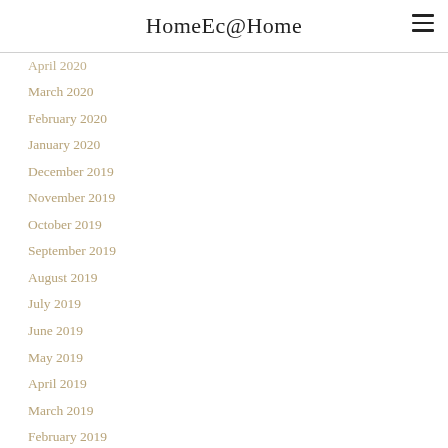HomeEc@Home
April 2020
March 2020
February 2020
January 2020
December 2019
November 2019
October 2019
September 2019
August 2019
July 2019
June 2019
May 2019
April 2019
March 2019
February 2019
January 2019
December 2018